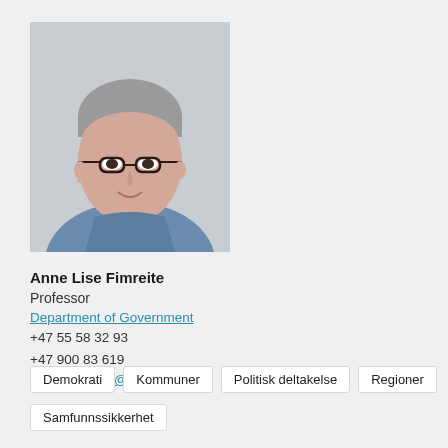[Figure (photo): Headshot of Anne Lise Fimreite, a woman with short grey hair and round glasses, wearing a blue top, smiling, against a light grey background.]
Anne Lise Fimreite
Professor
Department of Government
+47 55 58 32 93
+47 900 83 619
Anne.Fimreite@uib.no
Demokrati
Kommuner
Politisk deltakelse
Regioner
Samfunnssikkerhet